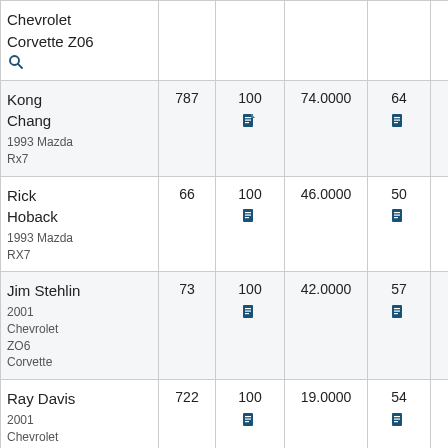| Name / Car | Num | 100 | Decimal | Small | Mid | Last |
| --- | --- | --- | --- | --- | --- | --- |
| Chevrolet Corvette Z06 [search] |  |  |  |  |  |  |
| Kong Chang
1993 Mazda Rx7 | 787 | 100 [doc] | 74.0000 | 64 [doc] | 35 [doc] | 54 [doc] |
| Rick Hoback
1993 Mazda RX7 | 66 | 100 [doc] | 46.0000 | 50 [doc] | 47 [doc] | 66 [doc] |
| Jim Stehlin
2001 Chevrolet ZO6 Corvette | 73 | 100 [doc] | 42.0000 | 57 [doc] | 56 [doc] | 41 [doc] |
| Ray Davis
2001 Chevrolet C5 Z06 Corvette | 722 | 100 [doc] | 19.0000 | 54 [doc] | 48 [doc] | 56 [doc] |